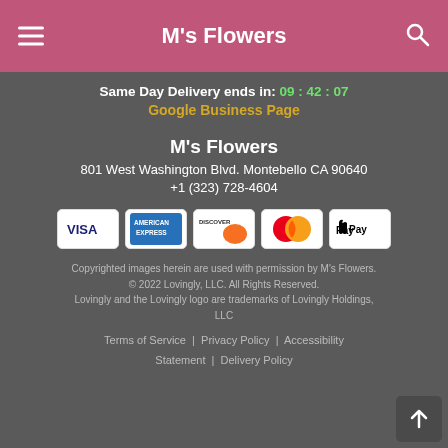M's Flowers
Same Day Delivery ends in: 09:42:07
Google Business Page
M's Flowers
801 West Washington Blvd. Montebello CA 90640
+1 (323) 728-4604
[Figure (other): Payment method icons: VISA, American Express, Discover, Mastercard, Apple Pay]
Copyrighted images herein are used with permission by M's Flowers. © 2022 Lovingly, LLC. All Rights Reserved. Lovingly and the Lovingly logo are trademarks of Lovingly Holdings, LLC
Terms of Service | Privacy Policy | Accessibility Statement | Delivery Policy